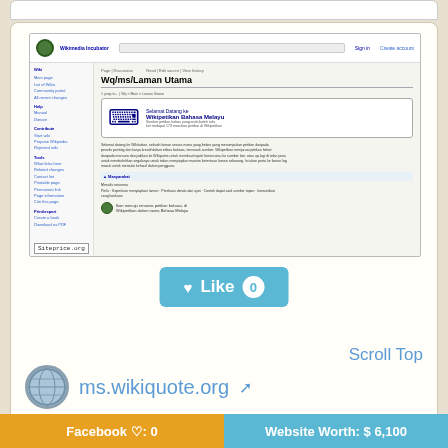[Figure (screenshot): Screenshot of ms.wikiquote.org (Wikimedia Incubator page for Wq/ms/Laman Utama - Wikipetikan Bahasa Melayu) with Siteprice.org watermark]
Like 0
Scroll Top
ms.wikiquote.org
wq/ms/laman utama - wikimedia incubator
wq/ms/laman utama - wikimedia incubator
Facebook ♡: 0
Website Worth: $ 6,100